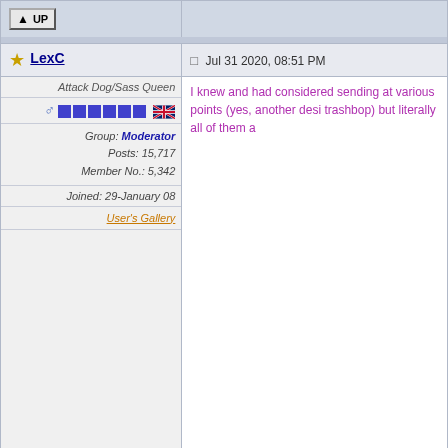[Figure (screenshot): Forum post interface showing UP button bar at top]
LexC | Jul 31 2020, 08:51 PM
Attack Dog/Sass Queen
Group: Moderator
Posts: 15,717
Member No.: 5,342
Joined: 29-January 08
User's Gallery
I knew and had considered sending at various points (yes, another desi trashbop) but literally all of them a
[Figure (screenshot): Bottom UP button bar]